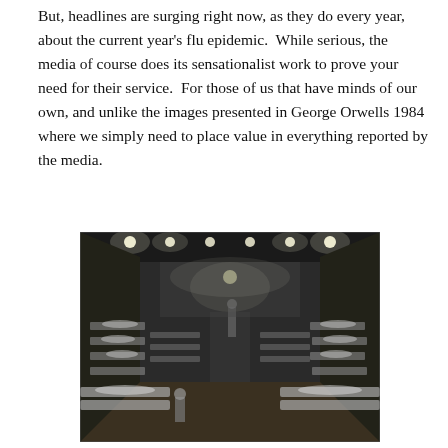But, headlines are surging right now, as they do every year, about the current year's flu epidemic.  While serious, the media of course does its sensationalist work to prove your need for their service.  For those of us that have minds of our own, and unlike the images presented in George Orwells 1984 where we simply need to place value in everything reported by the media.
[Figure (photo): Black and white historical photograph of a large hall filled with rows of hospital beds with patients lying in them, with bright overhead lights illuminating the crowded ward, resembling a military or emergency flu epidemic hospital, circa early 20th century.]